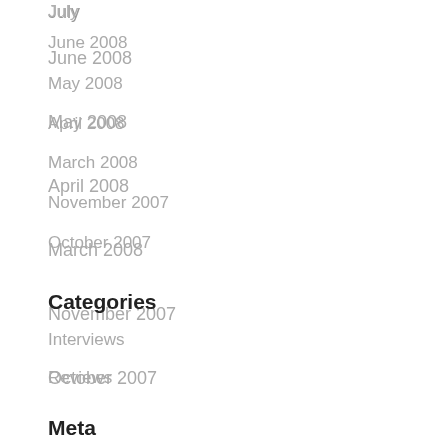June 2008
May 2008
April 2008
March 2008
November 2007
October 2007
Categories
Interviews
Reviews
Meta